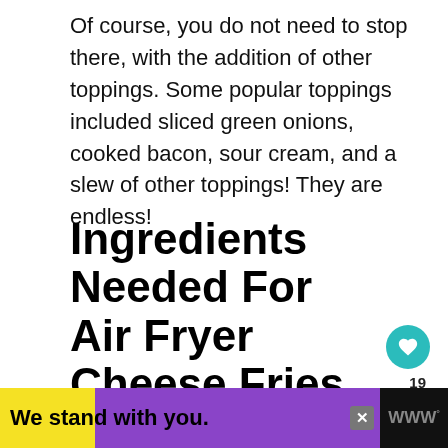Of course, you do not need to stop there, with the addition of other toppings. Some popular toppings included sliced green onions, cooked bacon, sour cream, and a slew of other toppings! They are endless!
Ingredients Needed For Air Fryer Cheese Fries
[Figure (photo): Close-up photo of air fryer cheese fries, golden and crispy, viewed from above]
[Figure (infographic): Advertisement banner: 'We stand with you.' with yellow and purple background on black bar, close button and logo]